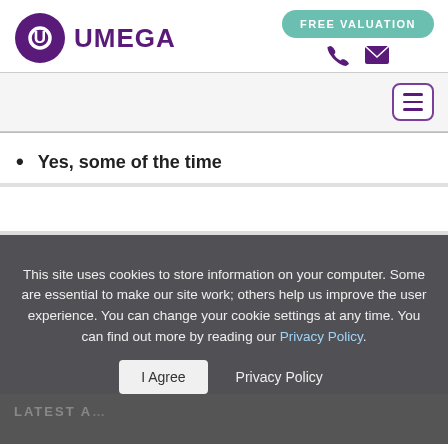UMEGA — FREE VALUATION
Yes, some of the time
This site uses cookies to store information on your computer. Some are essential to make our site work; others help us improve the user experience. You can change your cookie settings at any time. You can find out more by reading our Privacy Policy.
I Agree   Privacy Policy
LATEST A...